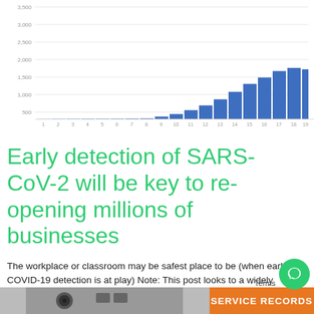[Figure (bar-chart): COVID-19 cases over time]
Early detection of SARS-CoV-2 will be key to re-opening millions of businesses
The workplace or classroom may be safest place to be (when early COVID-19 detection is at play) Note: This post looks to a widely reported COVID-19 [...]
[Figure (photo): Bottom left: photo of equipment/device; Bottom right: orange banner with text SERVICE RECORDS]